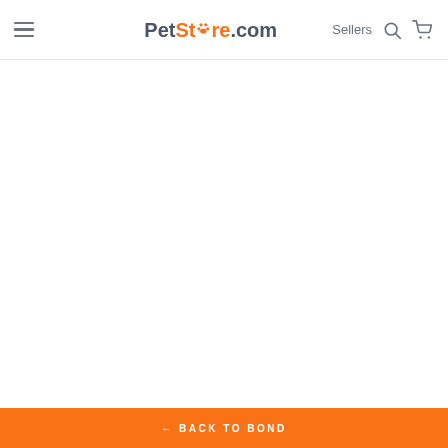PetStore.com  Sellers
BACK TO BOND